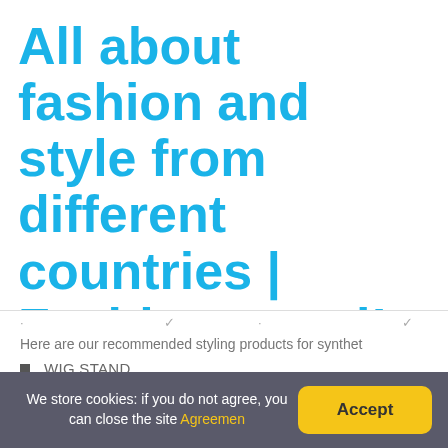All about fashion and style from different countries | Fashion travel!
Here are our recommended styling products for synthet
WIG STAND.
SPRAY BOTTLE FOR WATER.
WIG SHAMPOO.
WIG CONDITIONER.
We store cookies: if you do not agree, you can close the site Agreemen